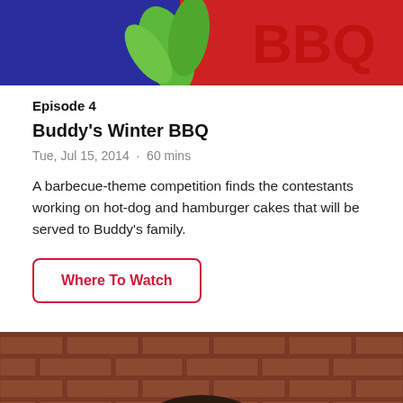[Figure (photo): Top portion of a TV show thumbnail image with blue and red background, green plant/leaves visible]
Episode 4
Buddy's Winter BBQ
Tue, Jul 15, 2014 · 60 mins
A barbecue-theme competition finds the contestants working on hot-dog and hamburger cakes that will be served to Buddy's family.
Where To Watch
[Figure (photo): Photo of a man (Buddy) in front of a brick wall background, dark hair, wearing a red shirt]